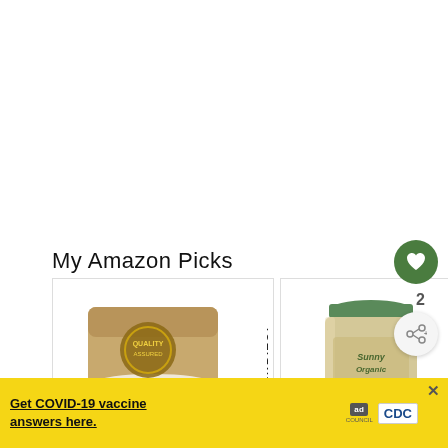My Amazon Picks
[Figure (photo): Erythritol product in a kraft paper bag with a circular seal logo, with vertical text reading ERYTHRITOL on the right side]
[Figure (photo): Sunny Organics spice jar — a square glass jar with a green metal lid, filled with a cream/tan powder, label reads Sunny Organic]
[Figure (infographic): COVID-19 vaccine ad banner: yellow background, text reads 'Get COVID-19 vaccine answers here.' with ad council logo and CDC logo on the right, close X button top right]
2